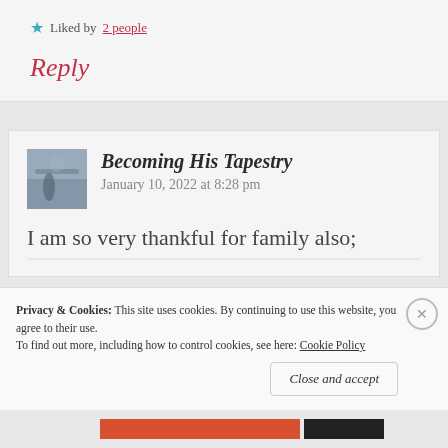Liked by 2 people
Reply
Becoming His Tapestry
January 10, 2022 at 8:28 pm
I am so very thankful for family also;
Privacy & Cookies: This site uses cookies. By continuing to use this website, you agree to their use.
To find out more, including how to control cookies, see here: Cookie Policy
Close and accept